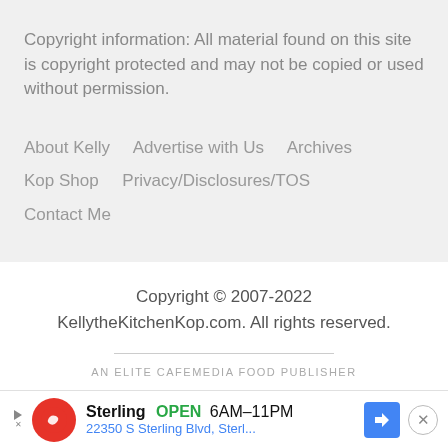Copyright information: All material found on this site is copyright protected and may not be copied or used without permission.
About Kelly
Advertise with Us
Archives
Kop Shop
Privacy/Disclosures/TOS
Contact Me
Copyright © 2007-2022 KellytheKitchenKop.com. All rights reserved.
AN ELITE CAFEMEDIA FOOD PUBLISHER
[Figure (infographic): Advertisement banner: Sterling store logo, OPEN 6AM-11PM, 22350 S Sterling Blvd, Sterl..., with direction arrow icon and close button]